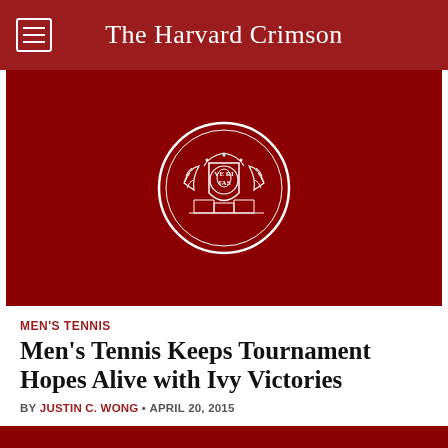The Harvard Crimson
[Figure (logo): Harvard University seal in white on dark crimson red background, circular emblem with shield and wreath]
MEN'S TENNIS
Men's Tennis Keeps Tournament Hopes Alive with Ivy Victories
BY JUSTIN C. WONG • APRIL 20, 2015
Winning matches against both Yale and Brown this weekend, the Crimson solidified its spot at number two in the Ivy League.